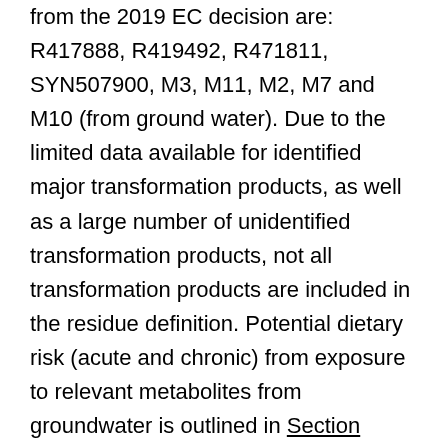from the 2019 EC decision are: R417888, R419492, R471811, SYN507900, M3, M11, M2, M7 and M10 (from ground water). Due to the limited data available for identified major transformation products, as well as a large number of unidentified transformation products, not all transformation products are included in the residue definition. Potential dietary risk (acute and chronic) from exposure to relevant metabolites from groundwater is outlined in Section 4.1.4.
4.1.2  Potential carcinogenicity of chlorothalonil (related to dietary exposure)